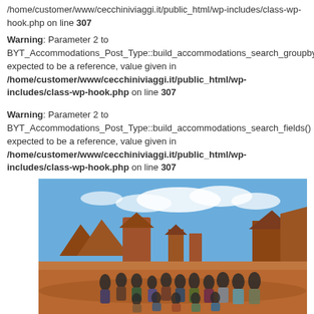/home/customer/www/cecchiniviaggi.it/public_html/wp-includes/class-wp-hook.php on line 307
Warning: Parameter 2 to BYT_Accommodations_Post_Type::build_accommodations_search_groupby() expected to be a reference, value given in /home/customer/www/cecchiniviaggi.it/public_html/wp-includes/class-wp-hook.php on line 307
Warning: Parameter 2 to BYT_Accommodations_Post_Type::build_accommodations_search_fields() expected to be a reference, value given in /home/customer/www/cecchiniviaggi.it/public_html/wp-includes/class-wp-hook.php on line 307
[Figure (photo): Group of tourists posing in front of Monument Valley buttes under a blue sky with clouds. Red rock formations and desert landscape visible in background.]